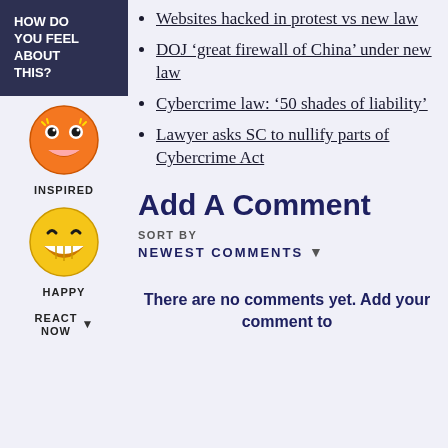HOW DO YOU FEEL ABOUT THIS?
[Figure (illustration): Orange inspired emoji face with excited expression]
INSPIRED
[Figure (illustration): Yellow happy emoji face with big smile]
HAPPY
REACT NOW
Websites hacked in protest vs new law
DOJ 'great firewall of China' under new law
Cybercrime law: '50 shades of liability'
Lawyer asks SC to nullify parts of Cybercrime Act
Add A Comment
SORT BY
NEWEST COMMENTS
There are no comments yet. Add your comment to